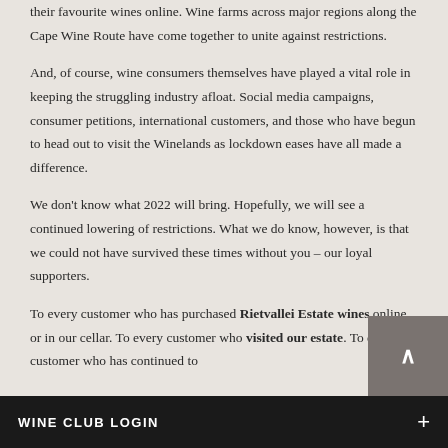their favourite wines online. Wine farms across major regions along the Cape Wine Route have come together to unite against restrictions.
And, of course, wine consumers themselves have played a vital role in keeping the struggling industry afloat. Social media campaigns, consumer petitions, international customers, and those who have begun to head out to visit the Winelands as lockdown eases have all made a difference.
We don't know what 2022 will bring. Hopefully, we will see a continued lowering of restrictions. What we do know, however, is that we could not have survived these times without you – our loyal supporters.
To every customer who has purchased Rietvallei Estate wines online or in our cellar. To every customer who visited our estate. To every customer who has continued to
WINE CLUB LOGIN +